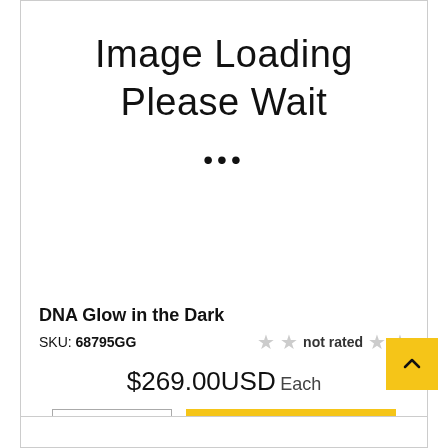[Figure (other): Image loading placeholder area with text 'Image Loading Please Wait' and ellipsis dots]
DNA Glow in the Dark
SKU: 68795GG   not rated
$269.00USD Each
1   ADD TO CART